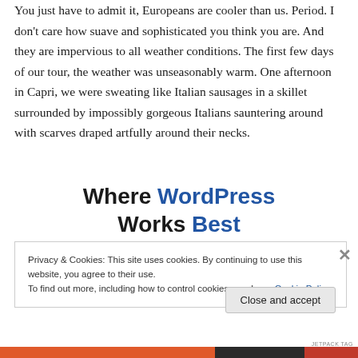You just have to admit it, Europeans are cooler than us. Period. I don't care how suave and sophisticated you think you are. And they are impervious to all weather conditions. The first few days of our tour, the weather was unseasonably warm. One afternoon in Capri, we were sweating like Italian sausages in a skillet surrounded by impossibly gorgeous Italians sauntering around with scarves draped artfully around their necks.
[Figure (other): WordPress promotional banner reading 'Where WordPress Works Best' with 'WordPress' and 'Best' in blue and the rest in dark/black bold text]
Privacy & Cookies: This site uses cookies. By continuing to use this website, you agree to their use.
To find out more, including how to control cookies, see here: Cookie Policy
Close and accept